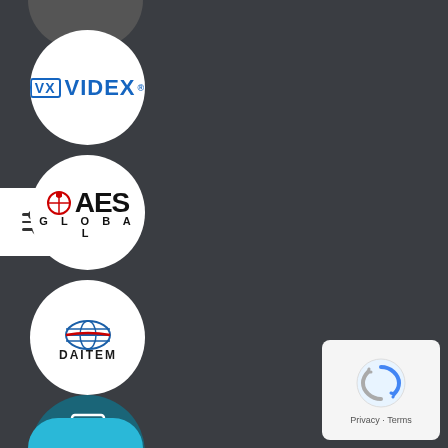[Figure (logo): Partially visible dark circle at top]
[Figure (logo): VIDEX logo in white circle — blue VX box with VIDEX text]
[Figure (logo): Filter/menu button icon with three horizontal lines and dots]
[Figure (logo): AES Global logo in white circle — red icon with AES text and GLOBAL below]
[Figure (logo): DAITEM logo in white circle — globe graphic with DAITEM text]
[Figure (logo): FARFISA logo in teal/dark blue circle — white F icon and FARFISA INTERCOMS SINCE 1967 text]
[Figure (logo): reCAPTCHA privacy box — circular arrow icon with Privacy - Terms text]
[Figure (logo): Partially visible light blue circle at bottom]